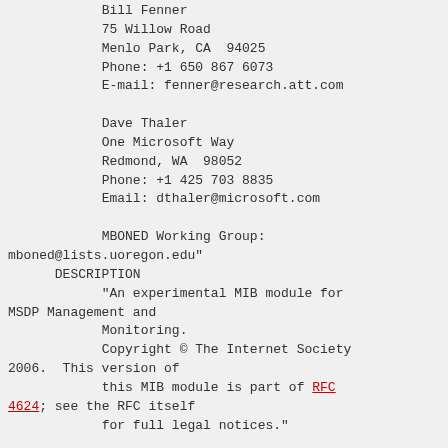Bill Fenner
75 Willow Road
Menlo Park, CA  94025
Phone: +1 650 867 6073
E-mail: fenner@research.att.com

Dave Thaler
One Microsoft Way
Redmond, WA  98052
Phone: +1 425 703 8835
Email: dthaler@microsoft.com

MBONED Working Group:
mboned@lists.uoregon.edu"
      DESCRIPTION
            "An experimental MIB module for
MSDP Management and
            Monitoring.
            Copyright © The Internet Society
2006.  This version of
            this MIB module is part of RFC
4624; see the RFC itself
            for full legal notices."